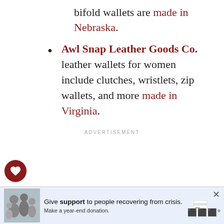bifold wallets are made in Nebraska.
Awl Snap Leather Goods Co. leather wallets for women include clutches, wristlets, zip wallets, and more made in Virginia.
ADVERTISEMENT
[Figure (screenshot): Advertisement placeholder area]
[Figure (screenshot): Sidebar with heart (favorite) button and share button]
WHAT'S NEXT → Leather Gloves Mad...
[Figure (photo): Circular thumbnail image for Leather Gloves article]
[Figure (screenshot): Bottom advertisement: Give support to people recovering from crisis. Make a year-end donation.]